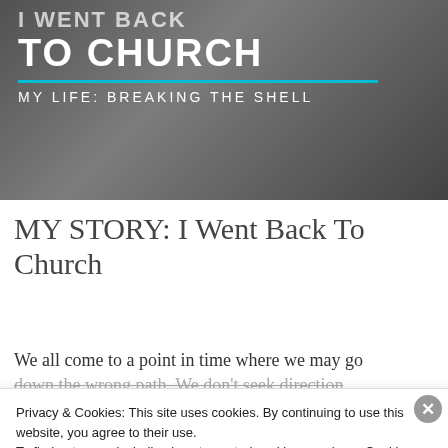[Figure (photo): Hero image with dark background showing a person, overlaid with bold white text reading 'I WENT BACK TO CHURCH' and subtitle 'MY LIFE: BREAKING THE SHELL' with a cyan/teal horizontal line separator]
MY STORY: I Went Back To Church
We all come to a point in time where we may go down the wrong path. We don't seek direction
Privacy & Cookies: This site uses cookies. By continuing to use this website, you agree to their use.
To find out more, including how to control cookies, see here: Cookie Policy
Close and accept